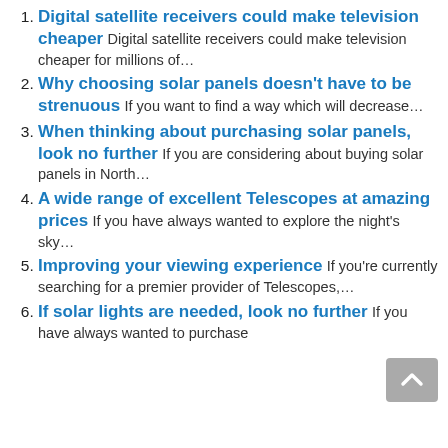1. Digital satellite receivers could make television cheaper Digital satellite receivers could make television cheaper for millions of…
2. Why choosing solar panels doesn't have to be strenuous If you want to find a way which will decrease…
3. When thinking about purchasing solar panels, look no further If you are considering about buying solar panels in North…
4. A wide range of excellent Telescopes at amazing prices If you have always wanted to explore the night's sky…
5. Improving your viewing experience If you're currently searching for a premier provider of Telescopes,…
6. If solar lights are needed, look no further If you have always wanted to purchase